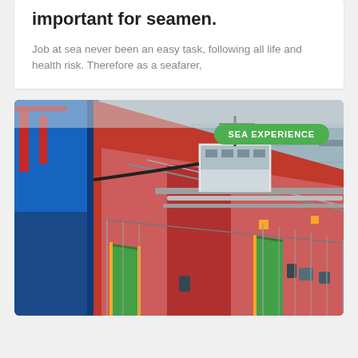important for seamen.
Job at sea never been an easy task, following all life and health risk. Therefore as a seafarer,
[Figure (photo): Aerial view of a red oil tanker ship deck alongside a blue vessel, with grey sea in the background. A green badge labeled 'SEA EXPERIENCE' is overlaid in the upper right corner of the photo.]